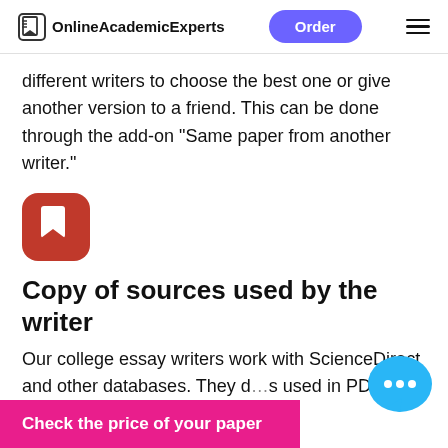OnlineAcademicExperts  Order
different writers to choose the best one or give another version to a friend. This can be done through the add-on "Same paper from another writer."
[Figure (logo): Red rounded square icon with a white bookmark/page symbol]
Copy of sources used by the writer
Our college essay writers work with ScienceDirect and other databases. They d… s used in PDF … k the "Copy of
Check the price of your paper